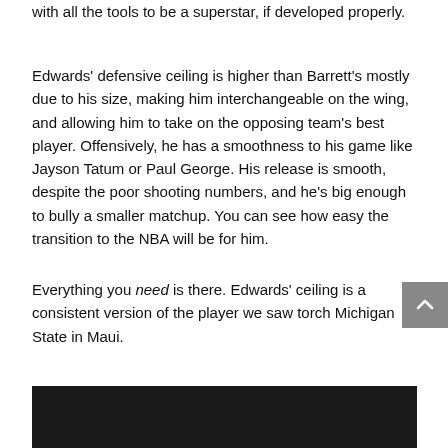with all the tools to be a superstar, if developed properly.
Edwards' defensive ceiling is higher than Barrett's mostly due to his size, making him interchangeable on the wing, and allowing him to take on the opposing team's best player. Offensively, he has a smoothness to his game like Jayson Tatum or Paul George. His release is smooth, despite the poor shooting numbers, and he's big enough to bully a smaller matchup. You can see how easy the transition to the NBA will be for him.
Everything you need is there. Edwards' ceiling is a consistent version of the player we saw torch Michigan State in Maui.
[Figure (photo): Dark/black image panel at the bottom of the page]